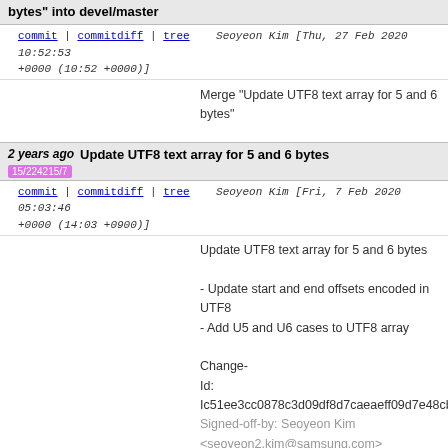bytes" into devel/master
commit | commitdiff | tree   Seoyeon Kim [Thu, 27 Feb 2020 10:52:53 +0000 (10:52 +0000)]
Merge "Update UTF8 text array for 5 and 6 bytes"
2 years ago   Update UTF8 text array for 5 and 6 bytes   15/224215/7
commit | commitdiff | tree   Seoyeon Kim [Fri, 7 Feb 2020 05:03:46 +0000 (14:03 +0900)]
Update UTF8 text array for 5 and 6 bytes

- Update start and end offsets encoded in UTF8
- Add U5 and U6 cases to UTF8 array

Change-Id: Ic51ee3cc0878c3d09df8d7caeaeff09d7e48cbf
Signed-off-by: Seoyeon Kim <seoyeon2.kim@samsung.com>
2 years ago   When calculating the layout size, the problem occurs.   08/226008/8
commit | commitdiff | tree   Joogab Yun [Wed, 26 Feb 2020 06:24:32 +0000 (15:24 +0900)]
When calculating the layout size, the problem occ...